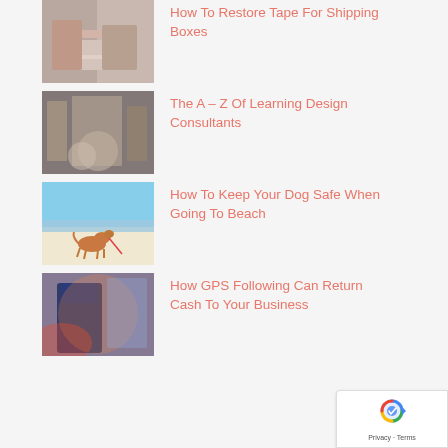How To Restore Tape For Shipping Boxes
The A – Z Of Learning Design Consultants
How To Keep Your Dog Safe When Going To Beach
How GPS Following Can Return Cash To Your Business